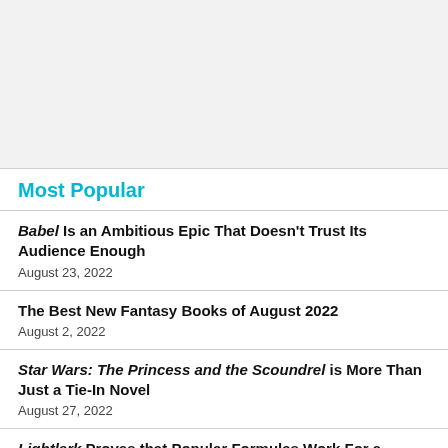[Figure (other): Gray advertisement banner placeholder]
Most Popular
Babel Is an Ambitious Epic That Doesn't Trust Its Audience Enough
August 23, 2022
The Best New Fantasy Books of August 2022
August 2, 2022
Star Wars: The Princess and the Scoundrel is More Than Just a Tie-In Novel
August 27, 2022
Lightlark Proves that Popular Formulas Work For a